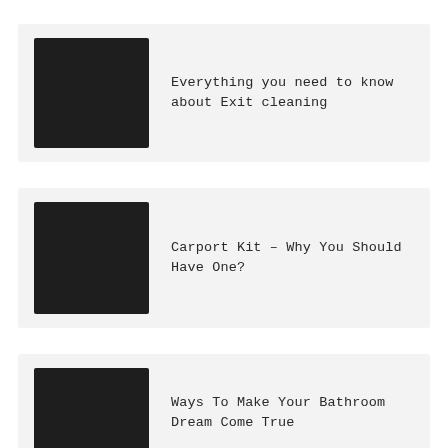[Figure (photo): Black thumbnail image placeholder]
Everything you need to know about Exit cleaning
[Figure (photo): Black thumbnail image placeholder]
Carport Kit – Why You Should Have One?
[Figure (photo): Black thumbnail image placeholder]
Ways To Make Your Bathroom Dream Come True